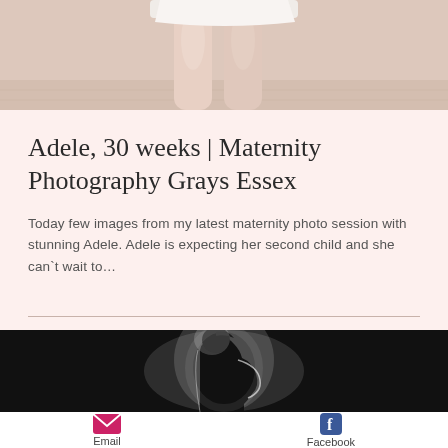[Figure (photo): Cropped photo showing lower body of a pregnant woman in a white dress/outfit, standing on a light wooden floor. Only legs and lower torso visible.]
Adele, 30 weeks | Maternity Photography Grays Essex
Today few images from my latest maternity photo session with stunning Adele. Adele is expecting her second child and she can`t wait to…
[Figure (photo): Black and white artistic silhouette photograph of a pregnant woman in profile against a bright backlight, showing her baby bump.]
[Figure (infographic): Footer with Email icon (pink envelope) and Facebook icon (blue Facebook logo) with labels Email and Facebook]